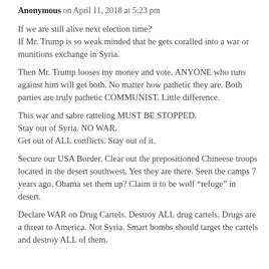Anonymous on April 11, 2018 at 5:23 pm
If we are still alive next election time?
If Mr. Trump is so weak minded that he gets coralled into a war or munitions exchange in Syria.
Then Mr. Trump looses my money and vote. ANYONE who runs against him will get both. No matter how pathetic they are. Both parties are truly pathetic COMMUNIST. Little difference.
This war and sabre ratteling MUST BE STOPPED. Stay out of Syria. NO WAR. Get out of ALL conflicts. Stay out of it.
Secure our USA Border. Clear out the prepositioned Chineese troops located in the desert southwest. Yes they are there. Seen the camps 7 years ago. Obama set them up? Claim it to be wolf “refuge” in desert.
Declare WAR on Drug Cartels. Destroy ALL drug cartels. Drugs are a threat to America. Not Syria. Smart bombs should target the cartels and destroy ALL of them.